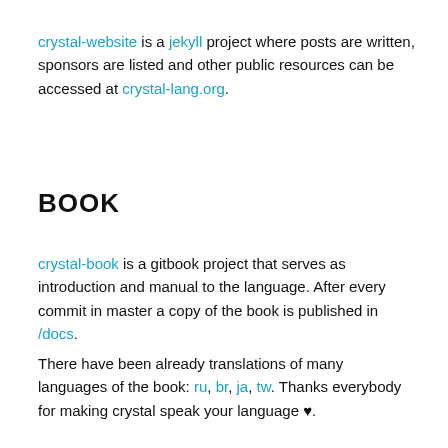crystal-website is a jekyll project where posts are written, sponsors are listed and other public resources can be accessed at crystal-lang.org.
BOOK
crystal-book is a gitbook project that serves as introduction and manual to the language. After every commit in master a copy of the book is published in /docs.
There have been already translations of many languages of the book: ru, br, ja, tw. Thanks everybody for making crystal speak your language ♥.